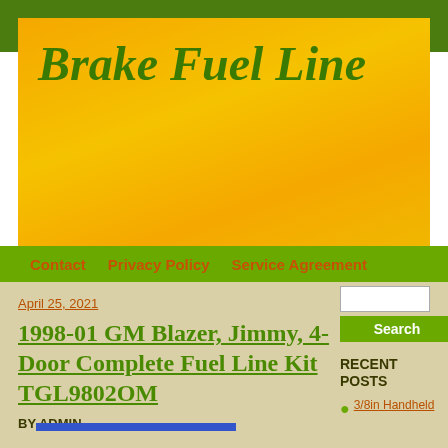Brake Fuel Line
Contact   Privacy Policy   Service Agreement
April 25, 2021
1998-01 GM Blazer, Jimmy, 4-Door Complete Fuel Line Kit TGL9802OM
BY ADMIN
RECENT POSTS
3/8in Handheld